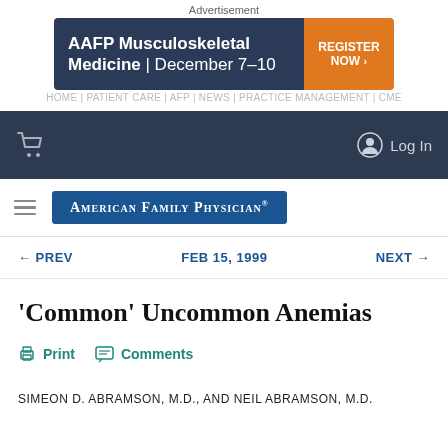Advertisement
[Figure (infographic): AAFP Musculoskeletal Medicine | December 7-10 advertisement banner with dark blue left panel and orange REGISTER NOW button on the right]
Log In (navigation bar with cart icon)
American Family Physician (logo with hamburger menu)
← PREV   FEB 15, 1999   NEXT →
'Common' Uncommon Anemias
Print   Comments
SIMEON D. ABRAMSON, M.D., AND NEIL ABRAMSON, M.D.